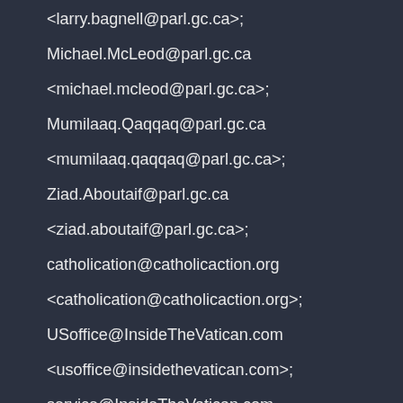<larry.bagnell@parl.gc.ca>;
Michael.McLeod@parl.gc.ca <michael.mcleod@parl.gc.ca>;
Mumilaaq.Qaqqaq@parl.gc.ca <mumilaaq.qaqqaq@parl.gc.ca>;
Ziad.Aboutaif@parl.gc.ca <ziad.aboutaif@parl.gc.ca>;
catholication@catholicaction.org <catholication@catholicaction.org>;
USoffice@InsideTheVatican.com <usoffice@insidethevatican.com>;
service@InsideTheVatican.com <service@insidethevatican.com>;
Advertising@InsideTheVatican.com <advertising@insidethevatican.com>;
Sent: Monday, May 24, 2021, 02:37:23 a.m.